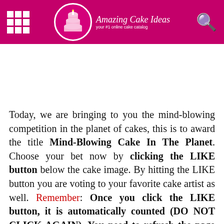Amazing Cake Ideas — your #1 online cake catalog
Today, we are bringing to you the mind-blowing competition in the planet of cakes, this is to award the title Mind-Blowing Cake In The Planet. Choose your bet now by clicking the LIKE button below the cake image. By hitting the LIKE button you are voting to your favorite cake artist as well. Remember: Once you click the LIKE button, it is automatically counted (DO NOT CLICK AGAIN). You need to refresh the page so that you can see the current number of votes.